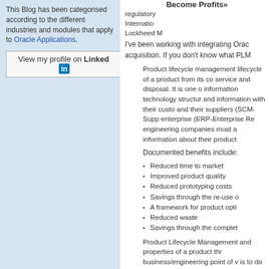This Blog has been categorised according to the different industries and modules that apply to Oracle Applications.
[Figure (other): LinkedIn profile button: 'View my profile on LinkedIn']
Become Profits»
regulatory International Lockheed M
I've been working with integrating Orac acquisition. If you don't know what PLM
Product lifecycle management lifecycle of a product from its co service and disposal. It is one o information technology structur and information with their custo and their suppliers (SCM-Supp enterprise (ERP-Enterprise Re engineering companies must a information about their product
Documented benefits include:
Reduced time to market
Improved product quality
Reduced prototyping costs
Savings through the re-use o
A framework for product opti
Reduced waste
Savings through the complet
Product Lifecycle Management and properties of a product thr business/engineering point of v is to do with the life of a produ costs and sales measures.
I was pleased to see that Agile also has Agile's Tom Lashob on the Goog